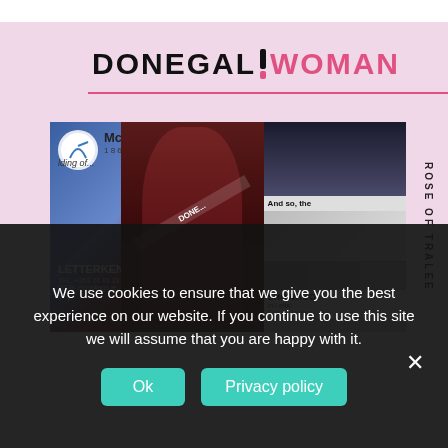[Figure (screenshot): Donegal Woman website screenshot showing the Donegal Rose of Tralee feature. Header shows 'DONEGAL WOMAN' logo in black and pink. Main content area has a photo of a young woman in a red dress holding flowers, wearing a 'Donegal Rose' sash, standing in front of a McCullagh banner with Letterkenny branding. Vertical text on left reads 'DONEGAL ROSE' and on right 'ROSE OF TRALEE'. Right side shows small car dealership images.]
We use cookies to ensure that we give you the best experience on our website. If you continue to use this site we will assume that you are happy with it.